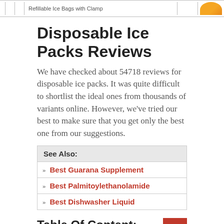Refillable Ice Bags with Clamp
Disposable Ice Packs Reviews
We have checked about 54718 reviews for disposable ice packs. It was quite difficult to shortlist the ideal ones from thousands of variants online. However, we've tried our best to make sure that you get only the best one from our suggestions.
See Also:
Best Guarana Supplement
Best Palmitoylethanolamide
Best Dishwasher Liquid
Table Of Content:
Medpride Instant Cold Pack Set Of 24 Disposable Cold
Ever Ready First Aid Disposable Cold Compress Therapy